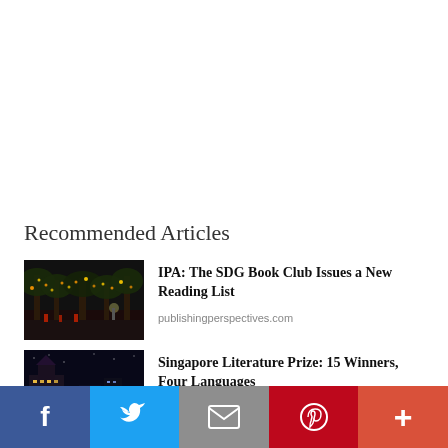Recommended Articles
[Figure (photo): Night photo of trees with lights and a street scene]
IPA: The SDG Book Club Issues a New Reading List
publishingperspectives.com
[Figure (photo): Night cityscape with illuminated buildings]
Singapore Literature Prize: 15 Winners, Four Languages
publishingperspectives.com
Facebook Twitter Email Pinterest More